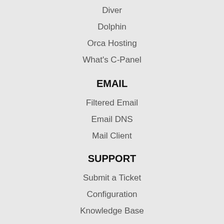Diver
Dolphin
Orca Hosting
What's C-Panel
EMAIL
Filtered Email
Email DNS
Mail Client
SUPPORT
Submit a Ticket
Configuration
Knowledge Base
Contact Us
MORE
Free Domain Policy